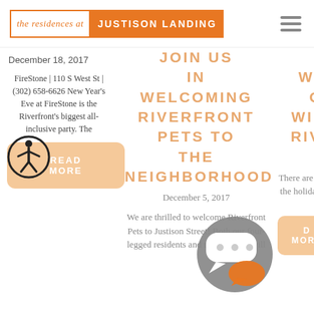the residences at JUSTISON LANDING
December 18, 2017
FireStone | 110 S West St | (302) 658-6626 New Year's Eve at FireStone is the Riverfront's biggest all-inclusive party. The
READ MORE
JOIN US IN WELCOMING RIVERFRONT PETS TO THE NEIGHBORHOOD
December 5, 2017
We are thrilled to welcome Riverfront Pets to Justison Street! Both our four-legged residents and their owners will
THIS WEEKEND ON THE WILMINGTON RIVERFRONT
December 1, 2017
There are plenty of ways to get into the holiday spirit this ad on the ton eck out
D MORE